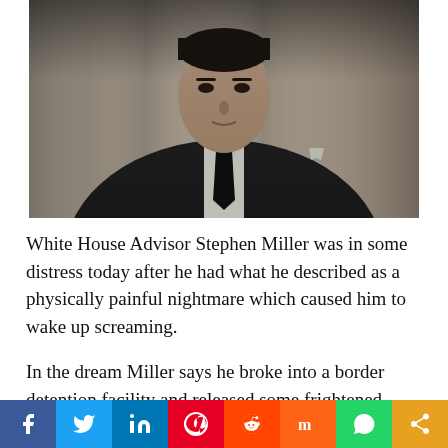[Figure (photo): A man in a dark suit with a black tie against a draped curtain background, looking to the side with a serious expression]
White House Advisor Stephen Miller was in some distress today after he had what he described as a physically painful nightmare which caused him to wake up screaming.
In the dream Miller says he broke into a border detention facility and released some frightened children from a cage. He then fed them, took them to a medical facility to make sure they were
f  t  in  p  s  m  (whatsapp)  <